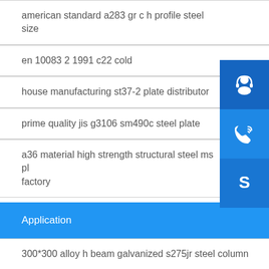american standard a283 gr c h profile steel size
en 10083 2 1991 c22 cold
house manufacturing st37-2 plate distributor
prime quality jis g3106 sm490c steel plate
a36 material high strength structural steel ms plate factory
Application
300*300 alloy h beam galvanized s275jr steel column
ss400 steel sheet for sculpture performance